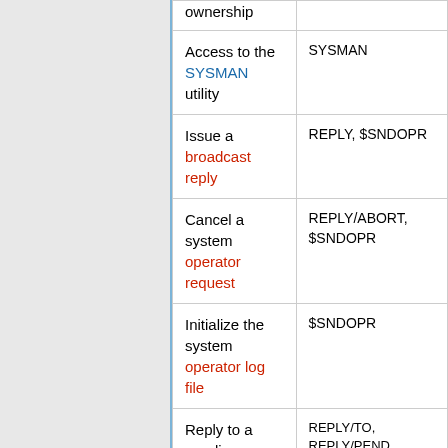| Action | Commands/Utilities |
| --- | --- |
| ownership |  |
| Access to the SYSMAN utility | SYSMAN |
| Issue a broadcast reply | REPLY, $SNDOPR |
| Cancel a system operator request | REPLY/ABORT, $SNDOPR |
| Initialize the system operator log file | $SNDOPR |
| Reply to a pending system operator | REPLY/TO, REPLY/PEND, REPLY/INITIALIZE_TAPE |